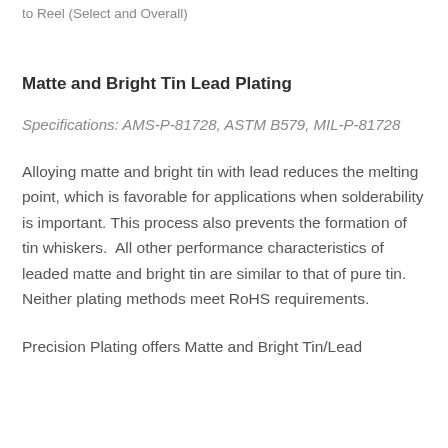to Reel (Select and Overall)
Matte and Bright Tin Lead Plating
Specifications: AMS-P-81728, ASTM B579, MIL-P-81728
Alloying matte and bright tin with lead reduces the melting point, which is favorable for applications when solderability is important. This process also prevents the formation of tin whiskers.  All other performance characteristics of leaded matte and bright tin are similar to that of pure tin.  Neither plating methods meet RoHS requirements.
Precision Plating offers Matte and Bright Tin/Lead